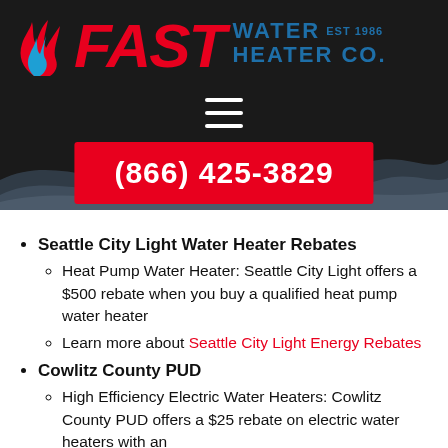[Figure (logo): Fast Water Heater Co. logo with flame icon, red FAST text, blue WATER HEATER CO. text, EST 1986]
(866) 425-3829
Seattle City Light Water Heater Rebates
Heat Pump Water Heater: Seattle City Light offers a $500 rebate when you buy a qualified heat pump water heater
Learn more about Seattle City Light Energy Rebates
Cowlitz County PUD
High Efficiency Electric Water Heaters: Cowlitz County PUD offers a $25 rebate on electric water heaters with an